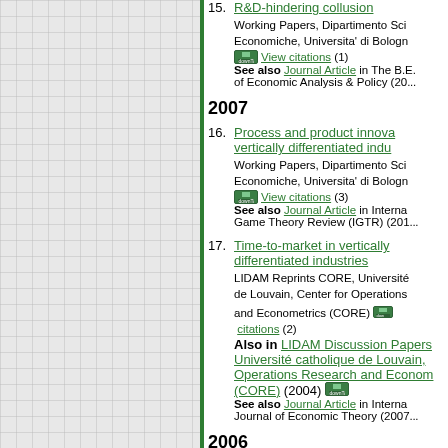15. R&D-hindering collusion – Working Papers, Dipartimento Scienze Economiche, Universita' di Bologna. downloads View citations (1). See also Journal Article in The B.E. of Economic Analysis & Policy (20...)
2007
16. Process and product innovation in vertically differentiated industries – Working Papers, Dipartimento Scienze Economiche, Universita' di Bologna. downloads View citations (3). See also Journal Article in International Game Theory Review (IGTR) (201...)
17. Time-to-market in vertically differentiated industries – LIDAM Reprints CORE, Université catholique de Louvain, Center for Operations Research and Econometrics (CORE). downloads View citations (2). Also in LIDAM Discussion Papers, Université catholique de Louvain, Center for Operations Research and Econometrics (CORE) (2004). downloads. See also Journal Article in International Journal of Economic Theory (2007...)
2006